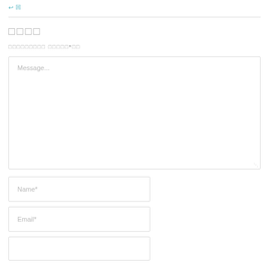↩ 回
□□□□
□□□□□□□□□ □□□□□*□□
Message...
Name*
Email*